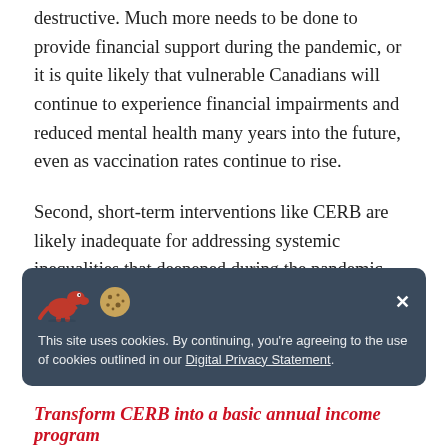destructive. Much more needs to be done to provide financial support during the pandemic, or it is quite likely that vulnerable Canadians will continue to experience financial impairments and reduced mental health many years into the future, even as vaccination rates continue to rise.
Second, short-term interventions like CERB are likely inadequate for addressing systemic inequalities that deepened during the pandemic. While there is no simple solution to addressing economic inequality, Canadians will need to consider more extensive remedies, such as basic
This site uses cookies. By continuing, you're agreeing to the use of cookies outlined in our Digital Privacy Statement.
Transform CERB into a basic annual income program